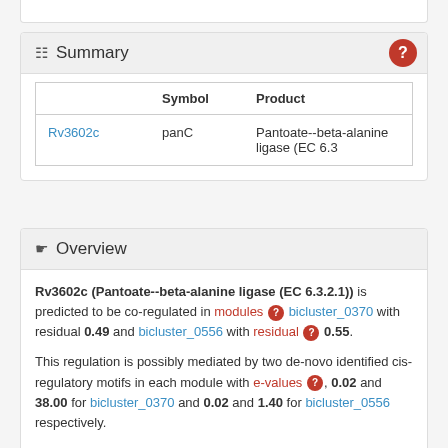Summary
|  | Symbol | Product |
| --- | --- | --- |
| Rv3602c | panC | Pantoate--beta-alanine ligase (EC 6.3 |
Overview
Rv3602c (Pantoate--beta-alanine ligase (EC 6.3.2.1)) is predicted to be co-regulated in modules bicluster_0370 with residual 0.49 and bicluster_0556 with residual 0.55.
This regulation is possibly mediated by two de-novo identified cis-regulatory motifs in each module with e-values, 0.02 and 38.00 for bicluster_0370 and 0.02 and 1.40 for bicluster_0556 respectively.